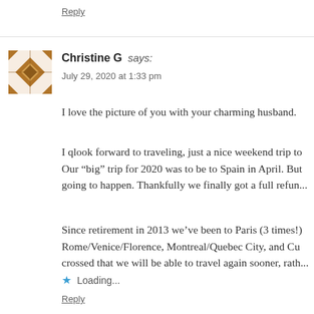Reply
[Figure (illustration): Brown geometric/floral avatar icon for user Christine G]
Christine G says:
July 29, 2020 at 1:33 pm
I love the picture of you with your charming husband.
I qlook forward to traveling, just a nice weekend trip to... Our “big” trip for 2020 was to be to Spain in April. But... going to happen. Thankfully we finally got a full refun...
Since retirement in 2013 we’ve been to Paris (3 times!), Rome/Venice/Florence, Montreal/Quebec City, and Cu... crossed that we will be able to travel again sooner, rath...
Loading...
Reply